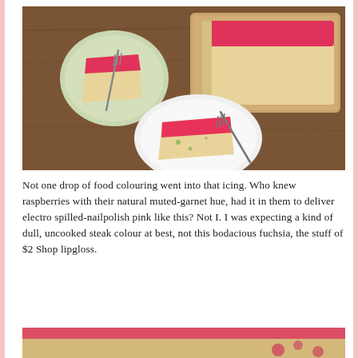[Figure (photo): Overhead view of cake slices with bright fuchsia/raspberry icing on plates and a cutting board on a wooden table]
Not one drop of food colouring went into that icing. Who knew raspberries with their natural muted-garnet hue, had it in them to deliver electro spilled-nailpolish pink like this? Not I. I was expecting a kind of dull, uncooked steak colour at best, not this bodacious fuchsia, the stuff of $2 Shop lipgloss.
[Figure (photo): Partial view of cake with raspberry icing, cropped at bottom of page]